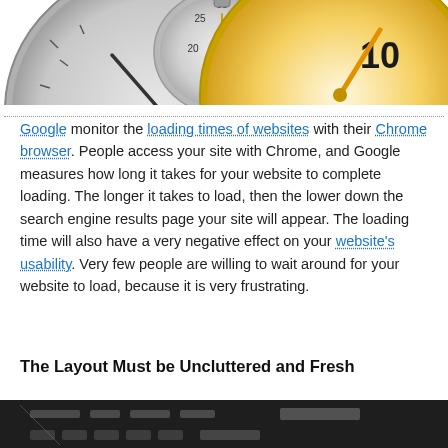[Figure (illustration): Stopwatch/speedometer gauge illustration showing two dials, one with needle pointing to 50, one with golden needle pointing near 10]
Google monitor the loading times of websites with their Chrome browser. People access your site with Chrome, and Google measures how long it takes for your website to complete loading. The longer it takes to load, then the lower down the search engine results page your site will appear. The loading time will also have a very negative effect on your website's usability. Very few people are willing to wait around for your website to load, because it is very frustrating.
The Layout Must be Uncluttered and Fresh
[Figure (photo): Close-up photo of a wireframe/layout sketch on paper showing website layout elements]